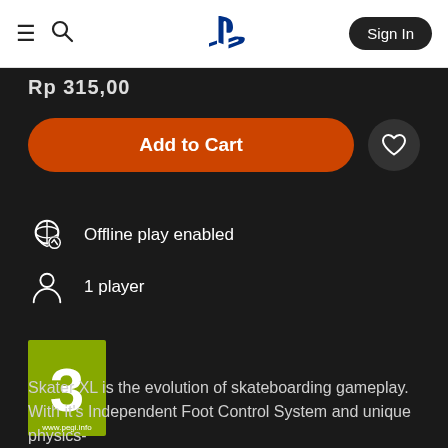PlayStation Store navigation bar with hamburger menu, search icon, PlayStation logo, and Sign In button
Rp 315,00
Add to Cart
Offline play enabled
1 player
[Figure (logo): PEGI 3 age rating logo — green square with large white number 3, www.pegi.info text at bottom]
Skater XL is the evolution of skateboarding gameplay. With it's Independent Foot Control System and unique physics-